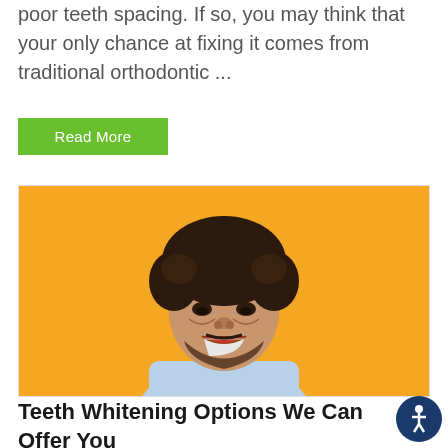poor teeth spacing. If so, you may think that your only chance at fixing it comes from traditional orthodontic ...
Read More
[Figure (photo): A smiling young man with curly dark hair and a beard, wearing a light blue denim shirt, photographed against a bright yellow/orange background.]
Teeth Whitening Options We Can Offer You